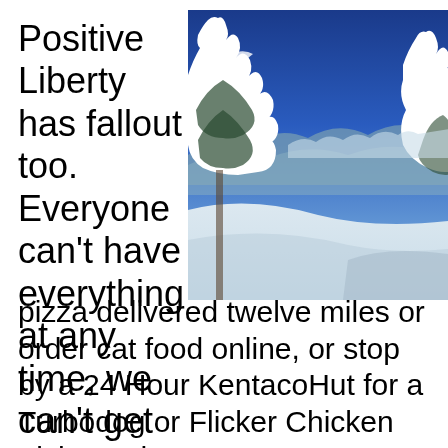Positive Liberty has fallout too. Everyone can't have everything at any time, we can't get pizza delivered twelve miles or order cat food online, or stop by a 24 Hour KentacoHut for a Turbodog or Flicker Chicken Fish O'What...
[Figure (photo): Aerial winter mountain landscape with snow-covered evergreen trees in the foreground and a blue sky above, looking out over distant snow-covered mountains and valleys.]